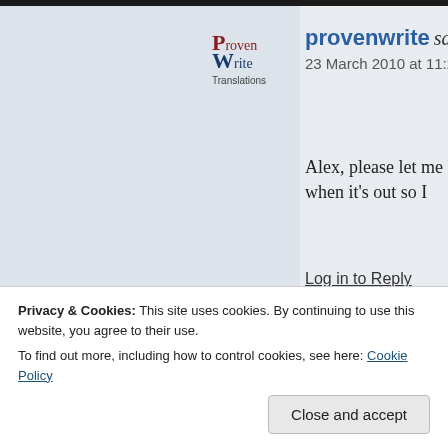[Figure (logo): ProvenWrite Translations logo — text logo with stylized letters]
provenwrite says:
23 March 2010 at 11:22
Alex, please let me know when it's out so I
Log in to Reply
[Figure (logo): RasPiTV avatar — red background with green circuit board image and RasPiTV text]
Alex Eames says:
29 March 2010 at 21:38
Wendell, it'll be out Tuesday 30th Ma format, but there will be other formats podcast.
Privacy & Cookies: This site uses cookies. By continuing to use this website, you agree to their use.
To find out more, including how to control cookies, see here: Cookie Policy
Close and accept